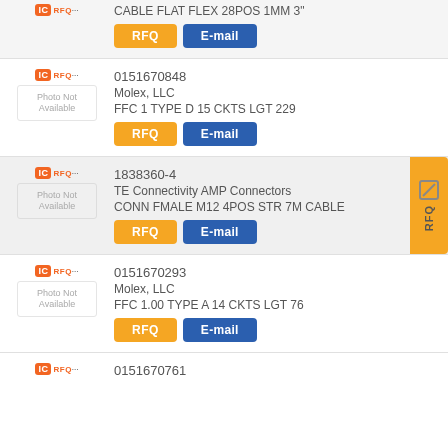CABLE FLAT FLEX 28POS 1MM 3"
0151670848
Molex, LLC
FFC 1 TYPE D 15 CKTS LGT 229
1838360-4
TE Connectivity AMP Connectors
CONN FMALE M12 4POS STR 7M CABLE
0151670293
Molex, LLC
FFC 1.00 TYPE A 14 CKTS LGT 76
0151670761